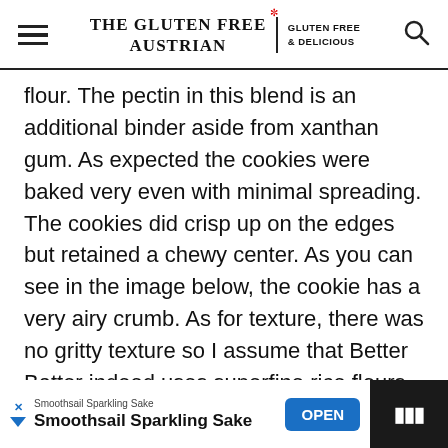THE GLUTEN FREE AUSTRIAN | GLUTEN FREE & DELICIOUS
flour. The pectin in this blend is an additional binder aside from xanthan gum. As expected the cookies were baked very even with minimal spreading. The cookies did crisp up on the edges but retained a chewy center. As you can see in the image below, the cookie has a very airy crumb. As for texture, there was no gritty texture so I assume that Better Batter indeed uses superfine rice flours in their blend. The
[Figure (screenshot): Advertisement banner for Smoothsail Sparkling Sake with an OPEN button, displayed over a dark background with a streaming service logo on the right.]